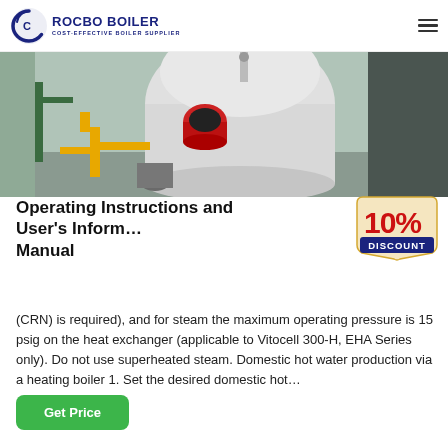[Figure (logo): Rocbo Boiler logo with circular C icon and text 'ROCBO BOILER / COST-EFFECTIVE BOILER SUPPLIER']
[Figure (photo): Industrial boiler installation in a facility showing a large cylindrical white boiler vessel with a red burner and yellow gas pipework in the foreground]
Operating Instructions and User's Information Manual
[Figure (infographic): 10% DISCOUNT badge in red and gold]
(CRN) is required), and for steam the maximum operating pressure is 15 psig on the heat exchanger (applicable to Vitocell 300-H, EHA Series only). Do not use superheated steam. Domestic hot water production via a heating boiler 1. Set the desired domestic hot…
Get Price